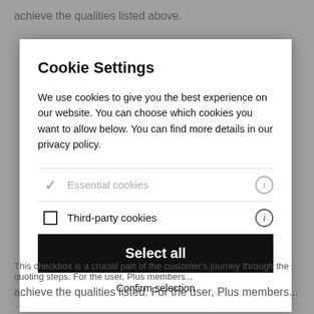achieve the qualities listed above.
Cookie Settings
We use cookies to give you the best experience on our website. You can choose which cookies you want to allow below. You can find more details in our privacy policy.
Essential cookies
Third-party cookies
Select all
Confirm selection
This checkbox is a crucial part of the customer's journey through the quoting steps. For the user, Plus members...
achieve the qualities listed. For the user, Plus members...